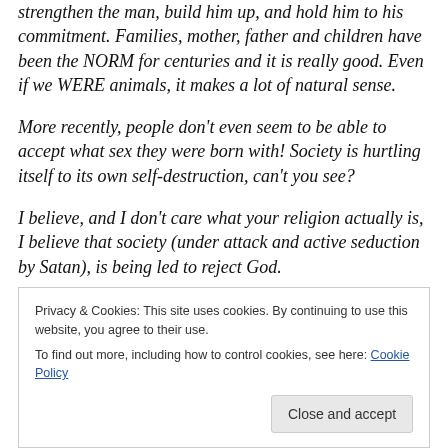strengthen the man, build him up, and hold him to his commitment. Families, mother, father and children have been the NORM for centuries and it is really good. Even if we WERE animals, it makes a lot of natural sense.
More recently, people don't even seem to be able to accept what sex they were born with! Society is hurtling itself to its own self-destruction, can't you see?
I believe, and I don't care what your religion actually is, I believe that society (under attack and active seduction by Satan), is being led to reject God.
Privacy & Cookies: This site uses cookies. By continuing to use this website, you agree to their use.
To find out more, including how to control cookies, see here: Cookie Policy